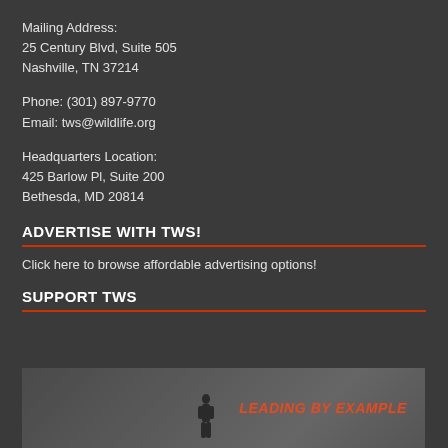Mailing Address:
25 Century Blvd, Suite 505
Nashville, TN 37214
Phone: (301) 897-9770
Email: tws@wildlife.org
Headquarters Location:
425 Barlow Pl, Suite 200
Bethesda, MD 20814
ADVERTISE WITH TWS!
Click here to browse affordable advertising options!
SUPPORT TWS
[Figure (photo): Dark atmospheric photo with a silhouette figure on a rocky peak and red italic text 'LEADING BY EXAMPLE']